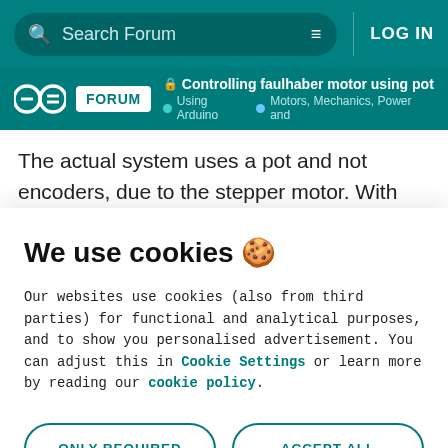Search Forum | LOG IN
FORUM | Controlling faulhaber motor using poten... | Using Arduino | Motors, Mechanics, Power and
The actual system uses a pot and not encoders, due to the stepper motor. With industry standard digital, quadrature encoder motors, I am looking for a way to take out the [text continues]
We use cookies 🍪
Our websites use cookies (also from third parties) for functional and analytical purposes, and to show you personalised advertisement. You can adjust this in Cookie Settings or learn more by reading our cookie policy.
ONLY REQUIRED
ACCEPT ALL